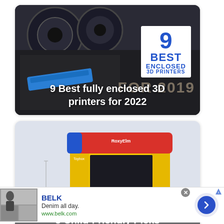[Figure (photo): Card showing a 3D printer with blue tool being loaded, overlaid with '9 BEST ENCLOSED 3D PRINTERS FOR 2019' badge and title text '9 Best fully enclosed 3D printers for 2022']
[Figure (photo): Card showing a colorful yellow/red/blue/green toy-like 3D printer (likely Toybox) with dimension label, titled 'The Best 3D Printers for Kids – 5 Child-Friendly Picks']
BELK
Denim all day.
www.belk.com